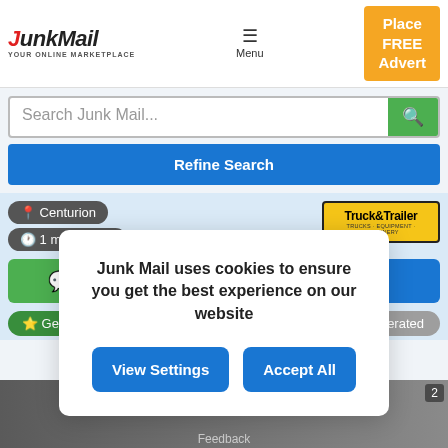[Figure (logo): JunkMail YOUR ONLINE MARKETPLACE logo with red J and black text]
Menu
Place FREE Advert
Search Junk Mail...
Refine Search
Centurion
1 minute ago
[Figure (logo): Truck&Trailer logo on yellow background]
Contact
Gearbox Centre
Moderated
Junk Mail uses cookies to ensure you get the best experience on our website
View Settings
Accept All
Feedback